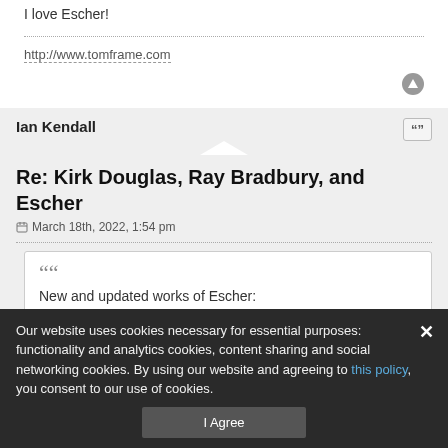I love Escher!
http://www.tomframe.com
Ian Kendall
Re: Kirk Douglas, Ray Bradbury, and Escher
March 18th, 2022, 1:54 pm
New and updated works of Escher:
https://www.taschen.com/pages/en/search/escher
Our website uses cookies necessary for essential purposes: functionality and analytics cookies, content sharing and social networking cookies. By using our website and agreeing to this policy, you consent to our use of cookies.
I Agree